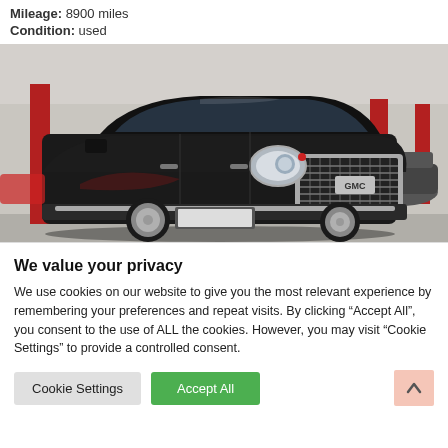Mileage: 8900 miles
Condition: used
[Figure (photo): Black GMC Yukon Denali SUV photographed in a dealership showroom/garage. The vehicle is facing front-right, showing the chrome grille with GMC badge, headlights, and chrome wheels. Red structural columns are visible in the background.]
We value your privacy
We use cookies on our website to give you the most relevant experience by remembering your preferences and repeat visits. By clicking “Accept All”, you consent to the use of ALL the cookies. However, you may visit "Cookie Settings" to provide a controlled consent.